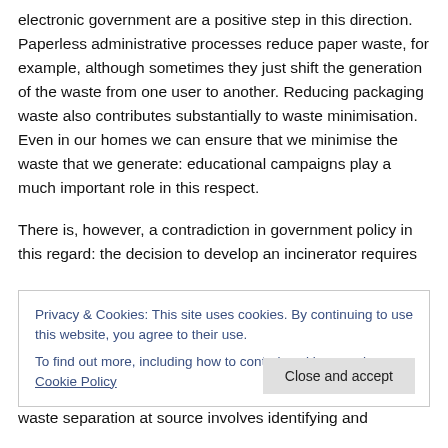electronic government are a positive step in this direction. Paperless administrative processes reduce paper waste, for example, although sometimes they just shift the generation of the waste from one user to another. Reducing packaging waste also contributes substantially to waste minimisation. Even in our homes we can ensure that we minimise the waste that we generate: educational campaigns play a much important role in this respect.
There is, however, a contradiction in government policy in this regard: the decision to develop an incinerator requires
Privacy & Cookies: This site uses cookies. By continuing to use this website, you agree to their use.
To find out more, including how to control cookies, see here: Cookie Policy
waste separation at source involves identifying and